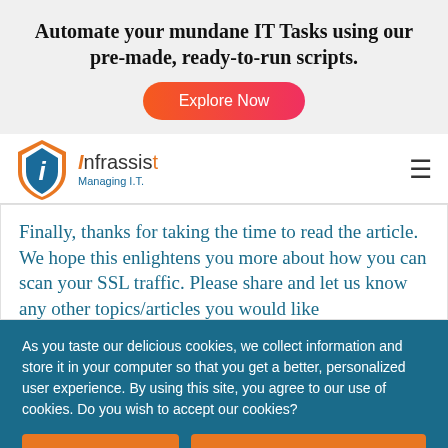Automate your mundane IT Tasks using our pre-made, ready-to-run scripts.
[Figure (illustration): Orange-to-pink gradient 'Explore Now' button]
[Figure (logo): Infrassist Managing I.T. logo with shield icon]
Finally, thanks for taking the time to read the article. We hope this enlightens you more about how you can scan your SSL traffic. Please share and let us know any other topics/articles you would like
As you taste our delicious cookies, we collect information and store it in your computer so that you get a better, personalized user experience. By using this site, you agree to our use of cookies. Do you wish to accept our cookies?
Yes, I'm Starving
No, My Dietician will kill me!